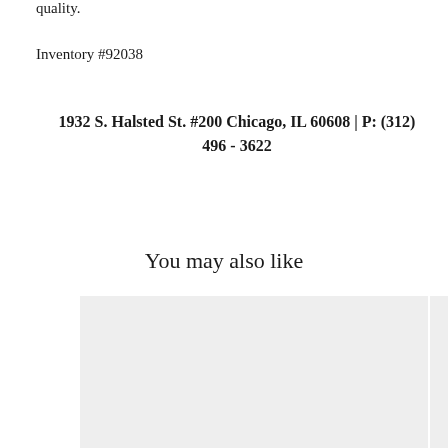quality.
Inventory #92038
1932 S. Halsted St. #200 Chicago, IL 60608 | P: (312) 496 - 3622
You may also like
[Figure (photo): A light gray placeholder image box, partially cropped on the right edge]